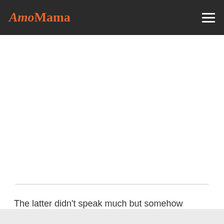AmoMama
The latter didn't speak much but somehow managed to